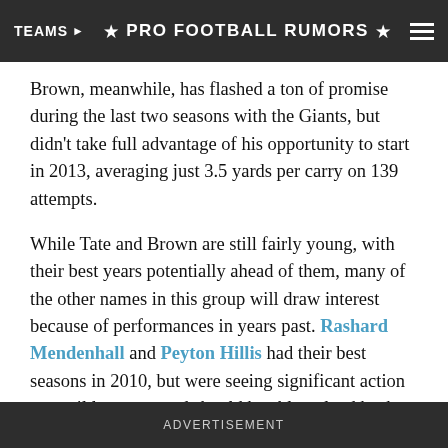TEAMS ★ PRO FOOTBALL RUMORS ★
Brown, meanwhile, has flashed a ton of promise during the last two seasons with the Giants, but didn't take full advantage of his opportunity to start in 2013, averaging just 3.5 yards per carry on 139 attempts.
While Tate and Brown are still fairly young, with their best years potentially ahead of them, many of the other names in this group will draw interest because of performances in years past. Rashard Mendenhall and Peyton Hillis had their best seasons in 2010, but were seeing significant action up until last year, and should be able to land backup roles. Meanwhile, Willis McGahee started six games in 2013 for the Browns, and turned in a career-worst 2.7 yards per carry. That performance could make it an uphill
ADVERTISEMENT